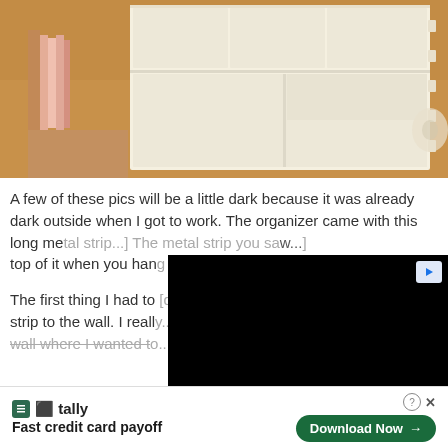[Figure (photo): Photo of a white desk organizer/shelf unit with multiple compartments, placed on a desk surface with warm amber/orange lighting. Some pink items visible on the left side.]
A few of these pics will be a little dark because it was already dark outside when I got to work. The organizer came with this long me[tal strip...] The metal strip you sa[w...] top of it when you han[g it...]
The first thing I had to [do was attach the metal] strip to the wall. I reall[y...] wall where I wanted t[o...] used th[e...] well as two [... ] is baby
[Figure (screenshot): Black video player overlay covering part of the text]
tally Fast credit card payoff Download Now